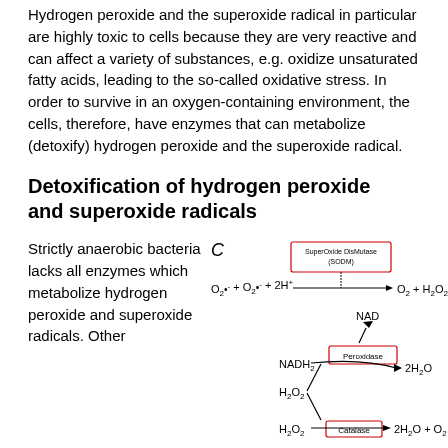Hydrogen peroxide and the superoxide radical in particular are highly toxic to cells because they are very reactive and can affect a variety of substances, e.g. oxidize unsaturated fatty acids, leading to the so-called oxidative stress. In order to survive in an oxygen-containing environment, the cells, therefore, have enzymes that can metabolize (detoxify) hydrogen peroxide and the superoxide radical.
Detoxification of hydrogen peroxide and superoxide radicals
Strictly anaerobic bacteria lacks all enzymes which metabolize hydrogen peroxide and superoxide radicals. Other
[Figure (schematic): Biochemical reaction diagram labeled C showing: SuperOxide DisMutase (SODM) catalyzing O2•- + O2•- + 2H+ → O2 + H2O2; Peroxidase catalyzing NADH2 + H2O2 → NAD + 2H2O; Catalase catalyzing H2O2 → 2H2O + O2]